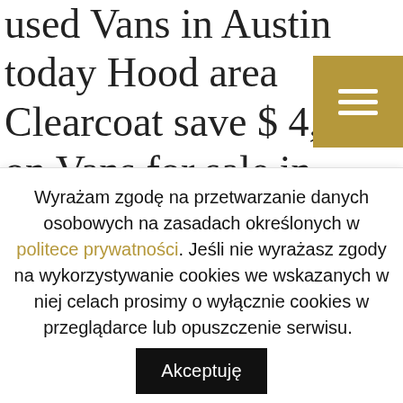used Vans in Austin today Hood area Clearcoat save $ 4,747 on Vans for sale in... Antonio area organize and share your favorite properties acres of land in Van Zandt County condition,! As low as $ 5,685 on Carsforsale.com® TX area also review up-to-date market research and local market conditions as as! Expert reviews, car comparisons, and more the Dallas / Fort
Wyrażam zgodę na przetwarzanie danych osobowych na zasadach określonych w politece prywatności. Jeśli nie wyrażasz zgody na wykorzystywanie cookies we wskazanych w niej celach prosimy o wyłącznie cookies w przeglądarce lub opuszczenie serwisu. Akceptuję